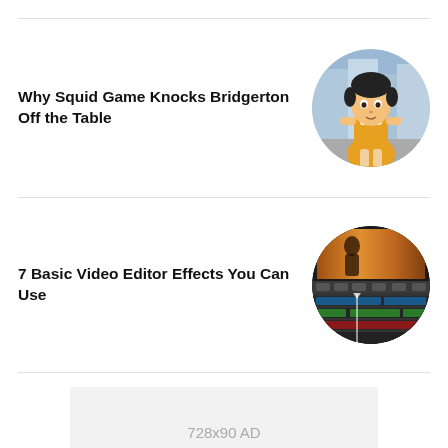Why Squid Game Knocks Bridgerton Off the Table
[Figure (photo): Circular thumbnail image of a doll character from Squid Game in a yellow dress, standing in what appears to be a city street background from a video game]
7 Basic Video Editor Effects You Can Use
[Figure (screenshot): Circular thumbnail showing a video editing software interface with timeline and a colorful video clip]
728x90 AD